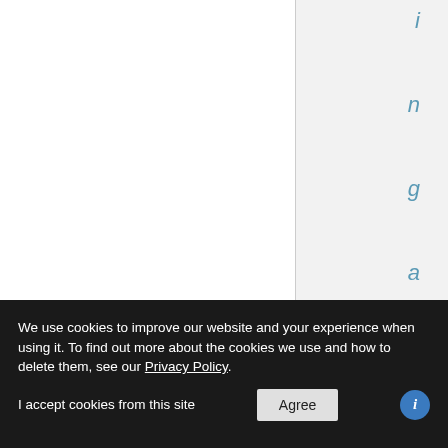[Figure (other): Website screenshot showing a two-column layout: a white left panel and a light grey right panel with a vertical divider. The right panel contains vertical italic letters in blue/teal: i, n, g, a, n, d, E, d, i, t spelling out part of a navigation or alphabetical index. A dark cookie consent banner overlays the bottom of the page.]
We use cookies to improve our website and your experience when using it. To find out more about the cookies we use and how to delete them, see our Privacy Policy.
I accept cookies from this site